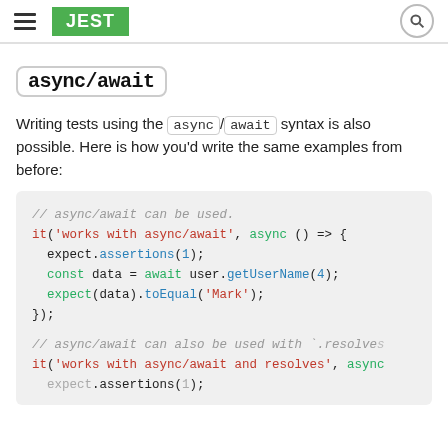JEST
async/await
Writing tests using the async/await syntax is also possible. Here is how you'd write the same examples from before:
// async/await can be used.
it('works with async/await', async () => {
  expect.assertions(1);
  const data = await user.getUserName(4);
  expect(data).toEqual('Mark');
});

// async/await can also be used with `.resolves`
it('works with async/await and resolves', async
  expect.assertions(1);